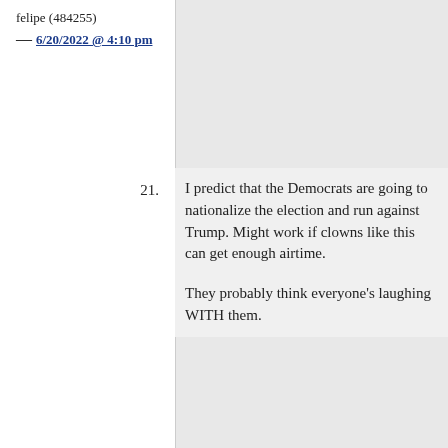felipe (484255)
— 6/20/2022 @ 4:10 pm
21. I predict that the Democrats are going to nationalize the election and run against Trump. Might work if clowns like this can get enough airtime.

They probably think everyone's laughing WITH them.